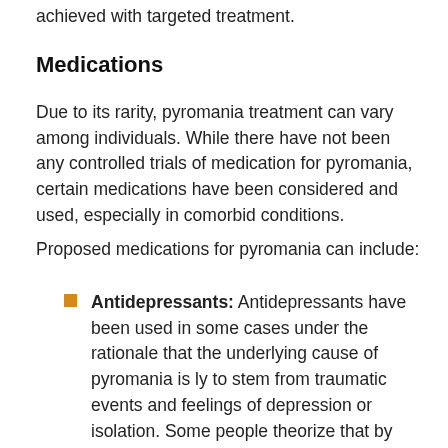achieved with targeted treatment.
Medications
Due to its rarity, pyromania treatment can vary among individuals. While there have not been any controlled trials of medication for pyromania, certain medications have been considered and used, especially in comorbid conditions.
Proposed medications for pyromania can include:
Antidepressants: Antidepressants have been used in some cases under the rationale that the underlying cause of pyromania is ly to stem from traumatic events and feelings of depression or isolation. Some people theorize that by treating the emotional trigger for pyromania, a person may not feel the same level of intensity of desire to set fires. Research suggests that on a neurobiological level those with impulse-control disorders have abnormalities in serotonergic transmission pathways that affect impulsive